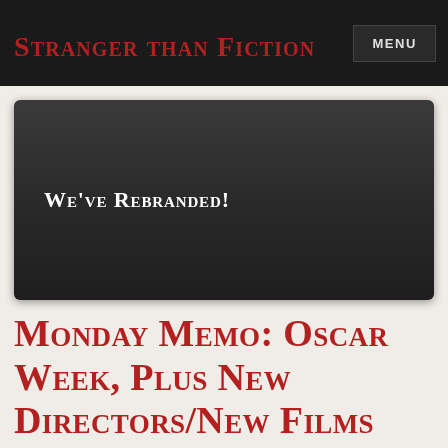Stranger than Fiction
[Figure (other): Dark card with text 'We've Rebranded!']
Monday Memo: Oscar Week, Plus New Directors/New Films Lineup Announced